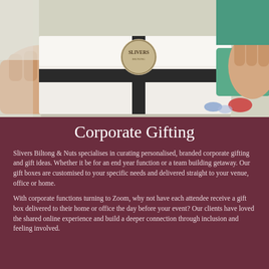[Figure (photo): Hands holding a white gift box tied with a black ribbon and a circular branded label reading 'SLIVERS', on a light background with teal fabric visible.]
Corporate Gifting
Slivers Biltong & Nuts specialises in curating personalised, branded corporate gifting and gift ideas. Whether it be for an end year function or a team building getaway. Our gift boxes are customised to your specific needs and delivered straight to your venue, office or home.
With corporate functions turning to Zoom, why not have each attendee receive a gift box delivered to their home or office the day before your event? Our clients have loved the shared online experience and build a deeper connection through inclusion and feeling involved.